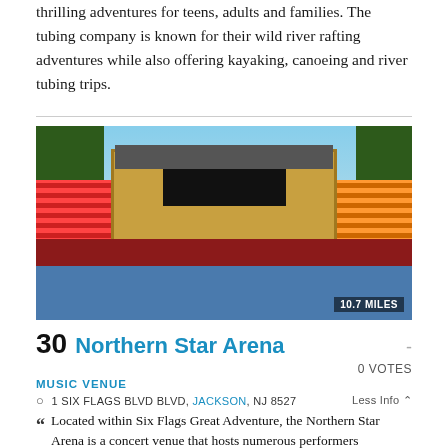thrilling adventures for teens, adults and families. The tubing company is known for their wild river rafting adventures while also offering kayaking, canoeing and river tubing trips.
[Figure (photo): Outdoor concert arena (Northern Star Arena at Six Flags Great Adventure) showing a large stage with wooden frame arch, black interior, red bleacher seats on the left, orange/yellow seats on the right, blue arena floor in foreground, and trees in the background. Distance badge shows 10.7 MILES.]
30 Northern Star Arena
0 VOTES
MUSIC VENUE
1 SIX FLAGS BLVD BLVD, JACKSON, NJ 8527
Less Info ^
Located within Six Flags Great Adventure, the Northern Star Arena is a concert venue that hosts numerous performers throughout the year. Notable past